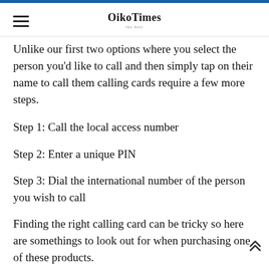OikoTimes
Unlike our first two options where you select the person you'd like to call and then simply tap on their name to call them calling cards require a few more steps.
Step 1: Call the local access number
Step 2: Enter a unique PIN
Step 3: Dial the international number of the person you wish to call
Finding the right calling card can be tricky so here are somethings to look out for when purchasing one of these products.